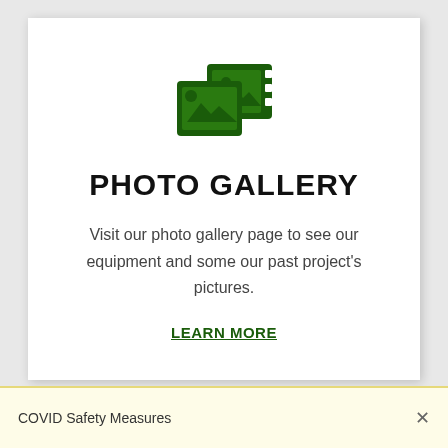[Figure (illustration): Green icon showing two overlapping image/photo frames with a mountain/landscape symbol inside, resembling a photo gallery icon]
PHOTO GALLERY
Visit our photo gallery page to see our equipment and some our past project's pictures.
LEARN MORE
COVID Safety Measures